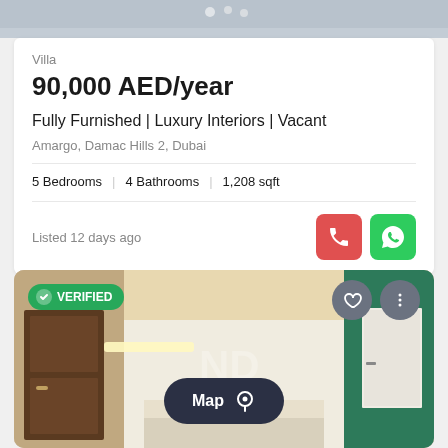[Figure (photo): Top portion of a property interior photo, partially cropped]
Villa
90,000 AED/year
Fully Furnished | Luxury Interiors | Vacant
Amargo, Damac Hills 2, Dubai
5 Bedrooms | 4 Bathrooms | 1,208 sqft
Listed 12 days ago
[Figure (photo): Interior photo of a villa showing entrance hall with dark wood door, white kitchen counter, teal/green accent wall, and warm ceiling lighting. VERIFIED badge top-left. Map button at bottom center.]